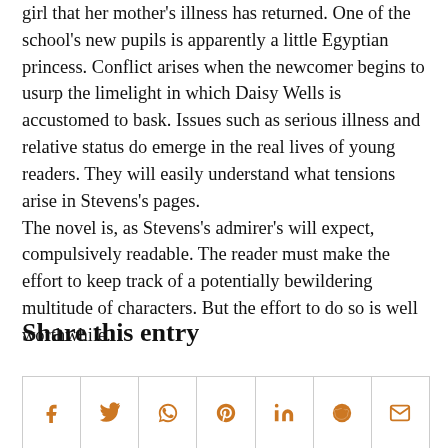girl that her mother's illness has returned. One of the school's new pupils is apparently a little Egyptian princess. Conflict arises when the newcomer begins to usurp the limelight in which Daisy Wells is accustomed to bask. Issues such as serious illness and relative status do emerge in the real lives of young readers. They will easily understand what tensions arise in Stevens's pages.
The novel is, as Stevens's admirer's will expect, compulsively readable. The reader must make the effort to keep track of a potentially bewildering multitude of characters. But the effort to do so is well worthwhile.
Share this entry
[Figure (other): Social sharing icons row: Facebook, Twitter, WhatsApp, Pinterest, LinkedIn, Reddit, Email]